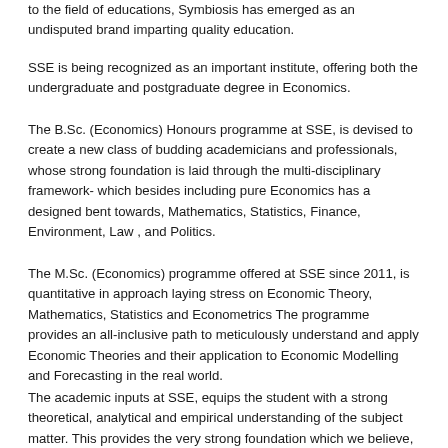to the field of educations, Symbiosis has emerged as an undisputed brand imparting quality education.
SSE is being recognized as an important institute, offering both the undergraduate and postgraduate degree in Economics.
The B.Sc. (Economics) Honours programme at SSE, is devised to create a new class of budding academicians and professionals, whose strong foundation is laid through the multi-disciplinary framework- which besides including pure Economics has a designed bent towards, Mathematics, Statistics, Finance, Environment, Law , and Politics.
The M.Sc. (Economics) programme offered at SSE since 2011, is quantitative in approach laying stress on Economic Theory, Mathematics, Statistics and Econometrics The programme provides an all-inclusive path to meticulously understand and apply Economic Theories and their application to Economic Modelling and Forecasting in the real world.
The academic inputs at SSE, equips the student with a strong theoretical, analytical and empirical understanding of the subject matter. This provides the very strong foundation which we believe, will prepare the graduates from SSE to become pragmatic...